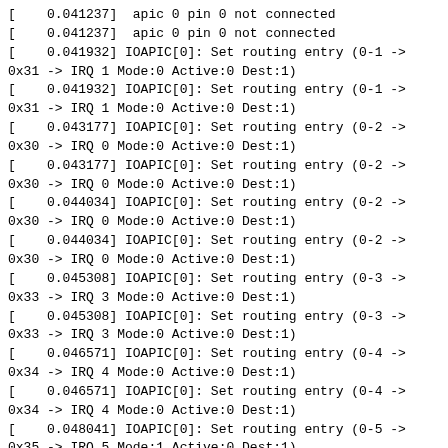[    0.041237]  apic 0 pin 0 not connected
[    0.041237]  apic 0 pin 0 not connected
[    0.041932] IOAPIC[0]: Set routing entry (0-1 -> 0x31 -> IRQ 1 Mode:0 Active:0 Dest:1)
[    0.041932] IOAPIC[0]: Set routing entry (0-1 -> 0x31 -> IRQ 1 Mode:0 Active:0 Dest:1)
[    0.043177] IOAPIC[0]: Set routing entry (0-2 -> 0x30 -> IRQ 0 Mode:0 Active:0 Dest:1)
[    0.043177] IOAPIC[0]: Set routing entry (0-2 -> 0x30 -> IRQ 0 Mode:0 Active:0 Dest:1)
[    0.044034] IOAPIC[0]: Set routing entry (0-2 -> 0x30 -> IRQ 0 Mode:0 Active:0 Dest:1)
[    0.044034] IOAPIC[0]: Set routing entry (0-2 -> 0x30 -> IRQ 0 Mode:0 Active:0 Dest:1)
[    0.045308] IOAPIC[0]: Set routing entry (0-3 -> 0x33 -> IRQ 3 Mode:0 Active:0 Dest:1)
[    0.045308] IOAPIC[0]: Set routing entry (0-3 -> 0x33 -> IRQ 3 Mode:0 Active:0 Dest:1)
[    0.046571] IOAPIC[0]: Set routing entry (0-4 -> 0x34 -> IRQ 4 Mode:0 Active:0 Dest:1)
[    0.046571] IOAPIC[0]: Set routing entry (0-4 -> 0x34 -> IRQ 4 Mode:0 Active:0 Dest:1)
[    0.048041] IOAPIC[0]: Set routing entry (0-5 -> 0x35 -> IRQ 5 Mode:1 Active:0 Dest:1)
[    0.048041] IOAPIC[0]: Set routing entry (0-5 -> 0x35 -> IRQ 5 Mode:1 Active:0 Dest:1)
[    0.049369] IOAPIC[0]: Set routing entry (0-6 -> 0x36 -> IRQ 6 Mode:0 Active:0 Dest:1)
[    0.049369] IOAPIC[0]: Set routing entry (0-6 -> 0x36 -> IRQ 6 Mode:0 Active:0 Dest:1)